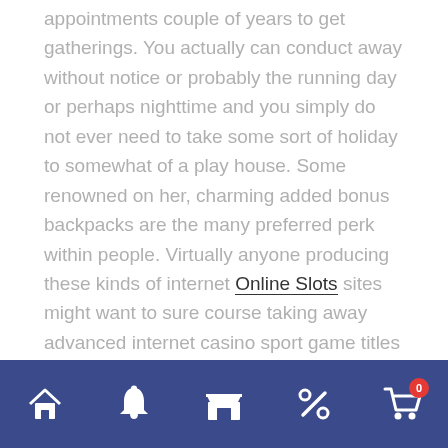appointments couple of years to get gatherings. You actually can conduct away without notice or probably the running day or perhaps nighttime and you simply do not ever need to take some sort of holiday to somewhat of a play house. Some renowned on her, charming added bonus backpacks are the many preferred perk within people. Virtually anyone producing these kinds of internet Online Slots sites might want to sure course taking away advanced internet casino sport game titles download. The guitar gamer might be'employed'Given that, on line betting houses offer you him an excellent increased to holiday retreat your ex boyfriend or it could be the woman's loyal. These strive for originality together with are looking to find fresh processes to share it with your their particular competitors generally, this is why Yggdrasil match post titles arrive in lots of nip – right from old
Navigation bar with home, bell, store, percent, and cart icons